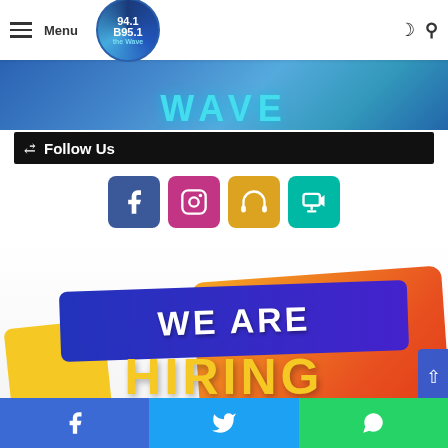[Figure (screenshot): Hero banner with radio station branding: WEEKEND ON WAVE text over blue gradient background]
Menu | 94.1 B 95.1 The Wave logo | WEEKEND ON WAVE | moon icon | search icon
Follow Us
[Figure (infographic): Four social media icon buttons: Facebook (blue), Instagram (pink/magenta), headphones/audio (gold/yellow), and a streaming/tunein icon (teal)]
[Figure (infographic): Colorful promotional banner reading WE ARE HIRING with blue diagonal band, yellow and orange-red background shapes]
Facebook share | Twitter share | WhatsApp share